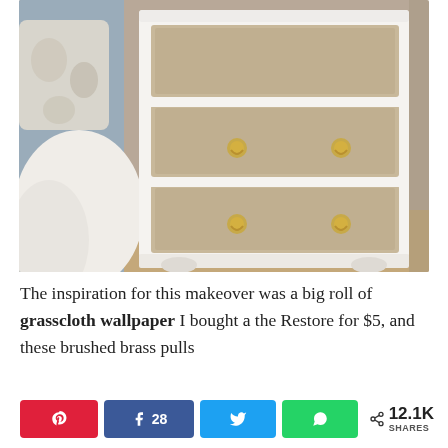[Figure (photo): A white painted dresser/nightstand with burlap or grasscloth-covered drawer fronts and brass ring pulls, sitting on a wooden floor next to a bed with a fluffy white blanket and a floral pillow.]
The inspiration for this makeover was a big roll of grasscloth wallpaper I bought a the Restore for $5, and these brushed brass pulls